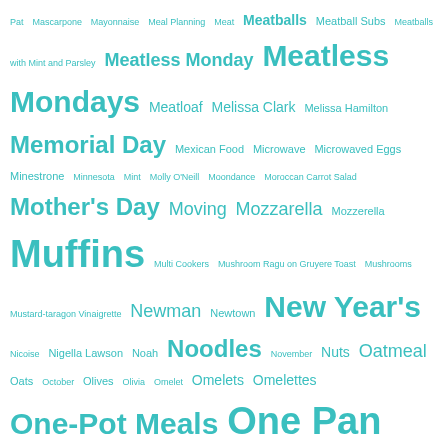Pat Mascarpone Mayonnaise Meal Planning Meat Meatballs Meatball Subs Meatballs with Mint and Parsley Meatless Monday Meatless Mondays Meatloaf Melissa Clark Melissa Hamilton Memorial Day Mexican Food Microwave Microwaved Eggs Minestrone Minnesota Mint Molly O'Neill Moondance Moroccan Carrot Salad Mother's Day Moving Mozzarella Mozzerella Muffins Multi Cookers Mushroom Ragu on Gruyere Toast Mushrooms Mustard-taragon Vinaigrette Newman Newtown New Year's Nicoise Nigella Lawson Noah Noodles November Nuts Oatmeal Oats October Olives Olivia Omelet Omelets Omelettes One-Pot Meals One Pan Dinners Onions On Vacation Open House Orange Vinaigrette Oregon Oregon wine Orzo Orzo Salad Oven Meals Oxfam Oyster crackers Pagliacci's New York Cheesecake Pancetta Papaya Parmesan Parnsips Passions Pasta Pasta Caprese